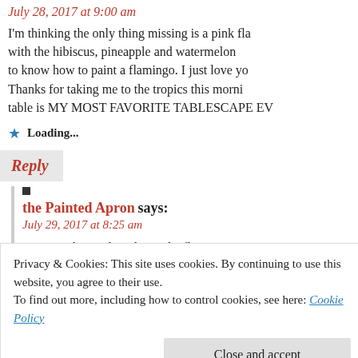July 28, 2017 at 9:00 am
I'm thinking the only thing missing is a pink fla with the hibiscus, pineapple and watermelon to know how to paint a flamingo. I just love yo Thanks for taking me to the tropics this morni table is MY MOST FAVORITE TABLESCAPE EV
Loading...
Reply
the Painted Apron says:
July 29, 2017 at 8:25 am
You’re right Sandy, I do need a flamingo in t you, I had a lot of fun doing South Pacific~ g
Privacy & Cookies: This site uses cookies. By continuing to use this website, you agree to their use.
To find out more, including how to control cookies, see here: Cookie Policy
Close and accept
What plate finds you have made lately~ Jo